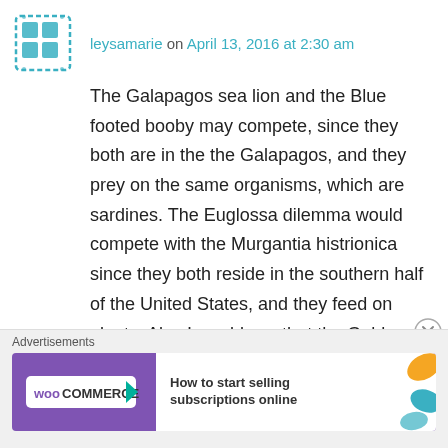leysamarie on April 13, 2016 at 2:30 am
The Galapagos sea lion and the Blue footed booby may compete, since they both are in the the Galapagos, and they prey on the same organisms, which are sardines. The Euglossa dilemma would compete with the Murgantia histrionica since they both reside in the southern half of the United States, and they feed on plants. Also I would say that the Golden Eagle and the Snow Leopard could compete as well with each other. Their habitat consists of many places and more than one continent, but they
Advertisements
[Figure (other): WooCommerce advertisement banner: 'How to start selling subscriptions online']